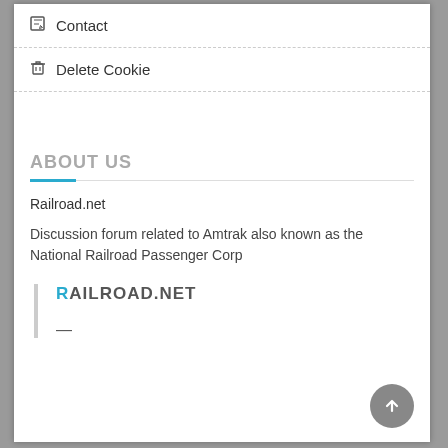Contact
Delete Cookie
ABOUT US
Railroad.net
Discussion forum related to Amtrak also known as the National Railroad Passenger Corp
RAILROAD.NET
—